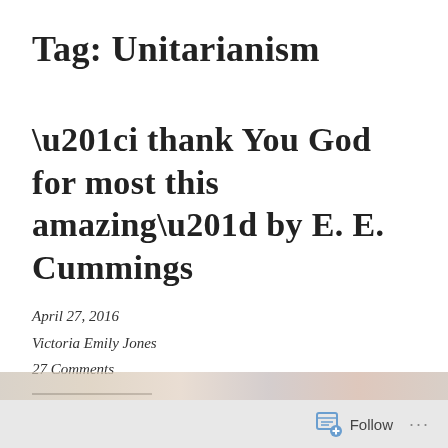Tag: Unitarianism
“i thank You God for most this amazing” by E. E. Cummings
April 27, 2016
Victoria Emily Jones
27 Comments
[Figure (photo): Partial image strip visible at bottom of post listing area]
Follow …